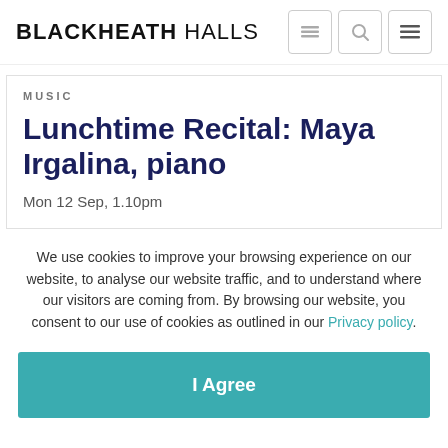BLACKHEATH HALLS
MUSIC
Lunchtime Recital: Maya Irgalina, piano
Mon 12 Sep, 1.10pm
We use cookies to improve your browsing experience on our website, to analyse our website traffic, and to understand where our visitors are coming from. By browsing our website, you consent to our use of cookies as outlined in our Privacy policy.
I Agree